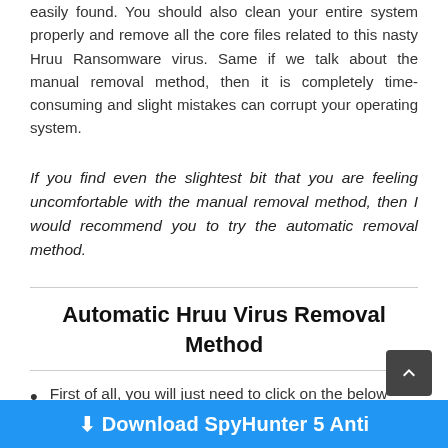easily found. You should also clean your entire system properly and remove all the core files related to this nasty Hruu Ransomware virus. Same if we talk about the manual removal method, then it is completely time-consuming and slight mistakes can corrupt your operating system.
If you find even the slightest bit that you are feeling uncomfortable with the manual removal method, then I would recommend you to try the automatic removal method.
Automatic Hruu Virus Removal Method
First of all, you will just need to click on the below button to download the software.
⬇ Download SpyHunter 5 Anti